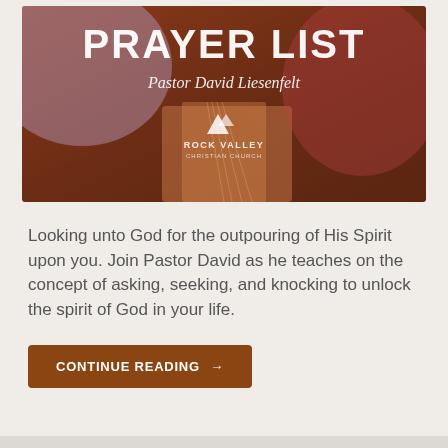[Figure (illustration): Book/prayer list graphic with text 'PRAYER LIST', 'Pastor David Liesenfelt', and Rock Valley Christian Church logo on a dark red/maroon book background]
Looking unto God for the outpouring of His Spirit upon you. Join Pastor David as he teaches on the concept of asking, seeking, and knocking to unlock the spirit of God in your life.
CONTINUE READING →
The Holy Spirit Prayer List – Part